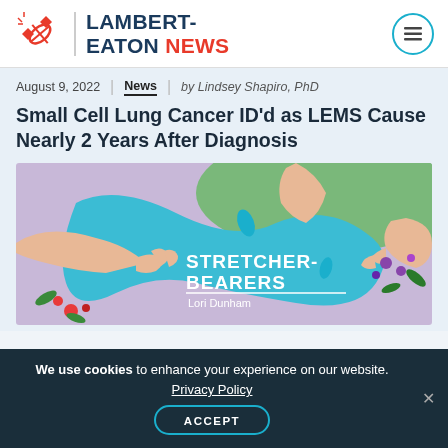LAMBERT-EATON NEWS
August 9, 2022 | News | by Lindsey Shapiro, PhD
Small Cell Lung Cancer ID'd as LEMS Cause Nearly 2 Years After Diagnosis
[Figure (illustration): Colorful illustration showing hands reaching toward each other over a teal/blue abstract shape with floral elements. Text overlay reads 'STRETCHER-BEARERS' by Lori Dunham]
We use cookies to enhance your experience on our website. Privacy Policy ACCEPT